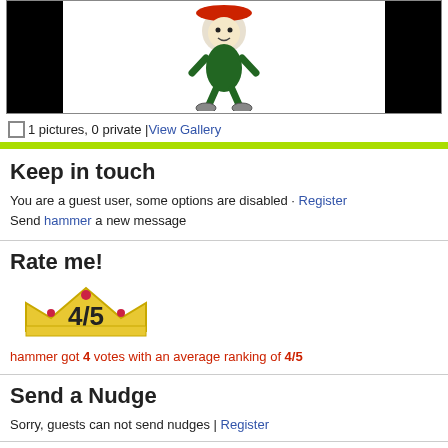[Figure (photo): Gallery thumbnail with black rectangles on left and right and a cartoon/illustration (red, green character figure) in the center on white background]
1 pictures, 0 private |View Gallery
Keep in touch
You are a guest user, some options are disabled · Register
Send hammer a new message
Rate me!
[Figure (illustration): Crown/badge illustration with bold text '4/5' overlaid]
hammer got 4 votes with an average ranking of 4/5
Send a Nudge
Sorry, guests can not send nudges | Register
Recent Profile Views